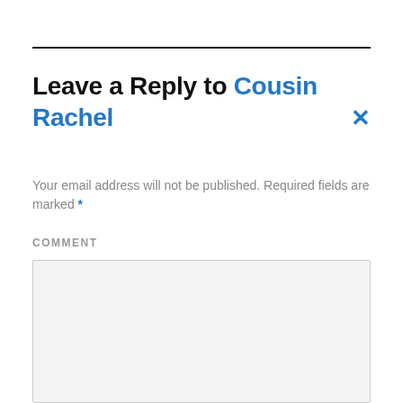Leave a Reply to Cousin Rachel
Your email address will not be published. Required fields are marked *
COMMENT
[Figure (other): Empty comment text area input box with light gray background]